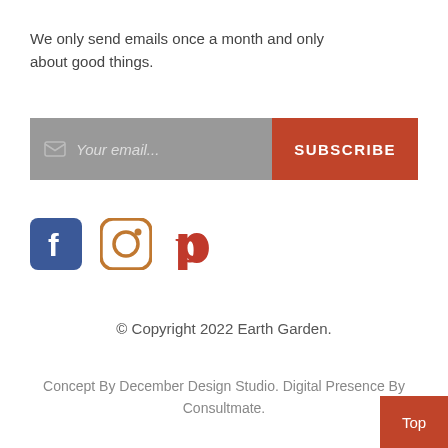We only send emails once a month and only about good things.
[Figure (infographic): Email subscription bar with gray input field showing envelope icon and 'Your email...' placeholder, and orange-red SUBSCRIBE button]
[Figure (infographic): Social media icons: Facebook (blue square with f), Instagram (brown camera outline), Pinterest (red P)]
© Copyright 2022 Earth Garden.
Concept By December Design Studio. Digital Presence By Consultmate.